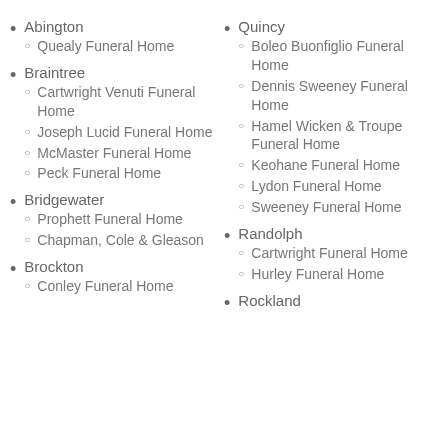Abington
Quealy Funeral Home
Braintree
Cartwright Venuti Funeral Home
Joseph Lucid Funeral Home
McMaster Funeral Home
Peck Funeral Home
Bridgewater
Prophett Funeral Home
Chapman, Cole & Gleason
Brockton
Conley Funeral Home
Quincy
Boleo Buonfiglio Funeral Home
Dennis Sweeney Funeral Home
Hamel Wicken & Troupe Funeral Home
Keohane Funeral Home
Lydon Funeral Home
Sweeney Funeral Home
Randolph
Cartwright Funeral Home
Hurley Funeral Home
Rockland